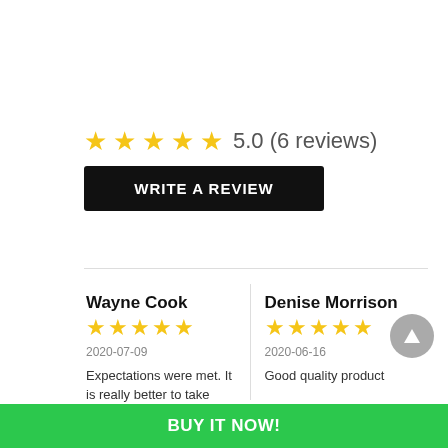5.0 (6 reviews)
WRITE A REVIEW
Wayne Cook
2020-07-09
Expectations were met. It is really better to take these, not save
Denise Morrison
2020-06-16
Good quality product
BUY IT NOW!